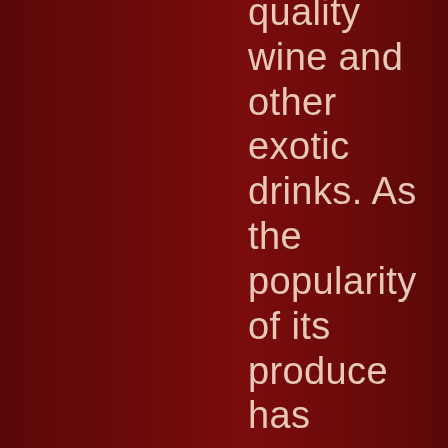quality wine and other exotic drinks. As the popularity of its produce has grown, so has the size of